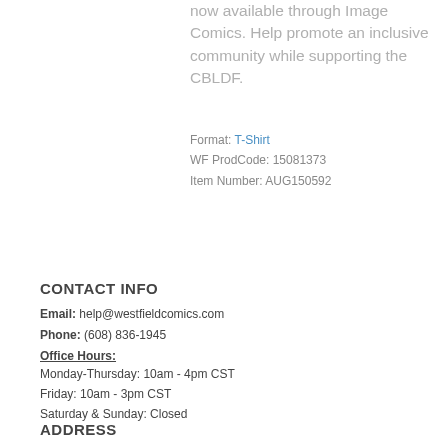now available through Image Comics. Help promote an inclusive community while supporting the CBLDF.
Format: T-Shirt
WF ProdCode: 15081373
Item Number: AUG150592
CONTACT INFO
Email: help@westfieldcomics.com
Phone: (608) 836-1945
Office Hours:
Monday-Thursday: 10am - 4pm CST
Friday: 10am - 3pm CST
Saturday & Sunday: Closed
ADDRESS